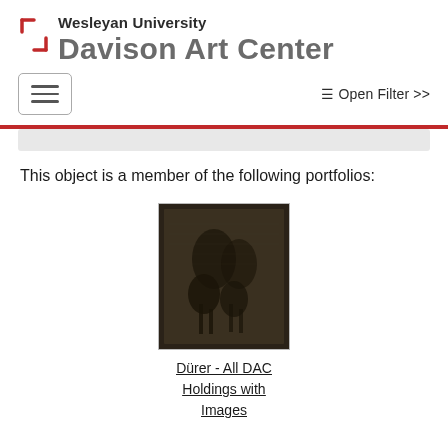Wesleyan University Davison Art Center
This object is a member of the following portfolios:
[Figure (photo): Thumbnail image of a Dürer artwork showing a dark engraving with figures on horseback]
Dürer - All DAC Holdings with Images